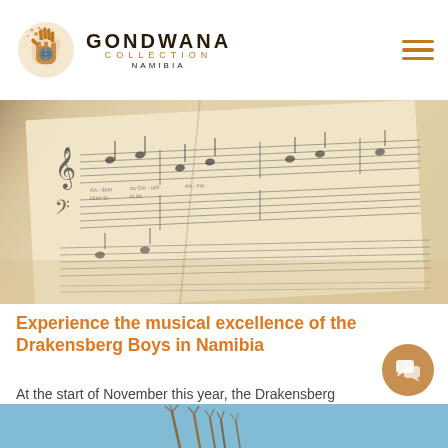GONDWANA COLLECTION NAMIBIA
[Figure (photo): Close-up photograph of open sheet music / choir hymn book pages with musical notation]
Experience the musical excellence of the Drakensberg Boys in Namibia
At the start of November this year, the Drakensberg Boys Choir will extend its warmest...
[Figure (photo): Bottom strip showing a light blue sky with dried grass or plant stems silhouettes]